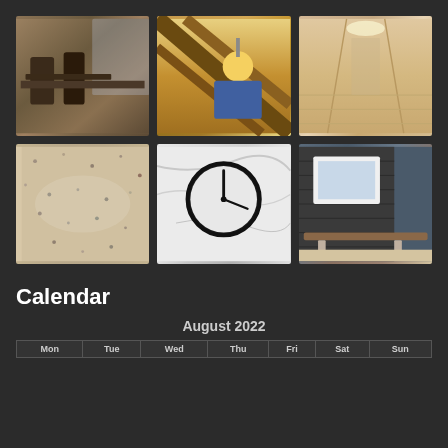[Figure (photo): Grid of 6 interior/construction photos: dining room with chairs, worker installing ceiling beams wearing yellow hard hat, empty hallway with wood floors, terrazzo floor close-up, wall clock on marble surface, outdoor bench next to building]
Calendar
August 2022
| Mon | Tue | Wed | Thu | Fri | Sat | Sun |
| --- | --- | --- | --- | --- | --- | --- |